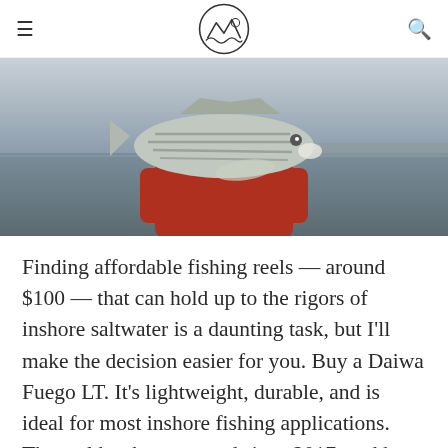[Logo] navigation header with hamburger menu and search icon
[Figure (photo): Person in red jacket holding a large striped bass fish, with a calm lake or bay in the background.]
Finding affordable fishing reels — around $100 — that can hold up to the rigors of inshore saltwater is a daunting task, but I'll make the decision easier for you. Buy a Daiwa Fuego LT. It's lightweight, durable, and is ideal for most inshore fishing applications. The reel has been around since 2017, and has become a favorite choice of mine since its release.